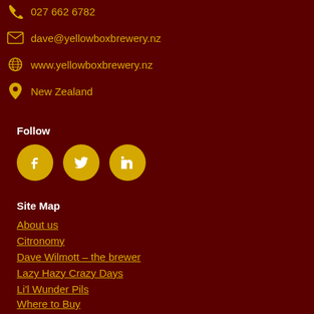027 662 6782
dave@yellowboxbrewery.nz
www.yellowboxbrewery.nz
New Zealand
Follow
[Figure (other): Social media icons: Facebook, Twitter, LinkedIn in gold circles]
Site Map
About us
Citronomy
Dave Wilmott – the brewer
Lazy Hazy Crazy Days
Li'l Wunder Pils
Where to Buy